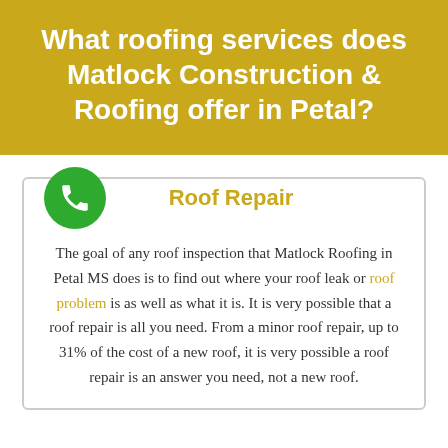What roofing services does Matlock Construction & Roofing offer in Petal?
Roof Repair
The goal of any roof inspection that Matlock Roofing in Petal MS does is to find out where your roof leak or roof problem is as well as what it is. It is very possible that a roof repair is all you need. From a minor roof repair, up to 31% of the cost of a new roof, it is very possible a roof repair is an answer you need, not a new roof.